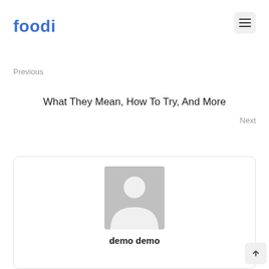foodi
Previous
What They Mean, How To Try, And More
Next
[Figure (illustration): Author avatar placeholder — grey square with white silhouette of a person (head circle and shoulders arc)]
demo demo